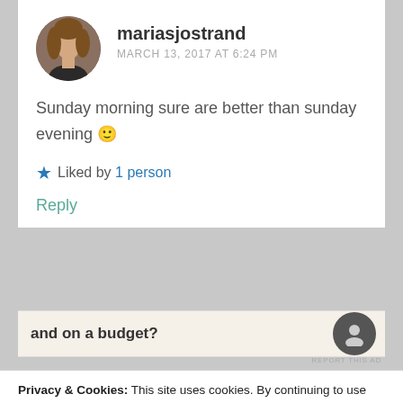mariasjostrand
MARCH 13, 2017 AT 6:24 PM
Sunday morning sure are better than sunday evening 🙂
Liked by 1 person
Reply
and on a budget?
REPORT THIS AD
Privacy & Cookies: This site uses cookies. By continuing to use this website, you agree to their use.
To find out more, including how to control cookies, see here: Cookie Policy
Close and accept